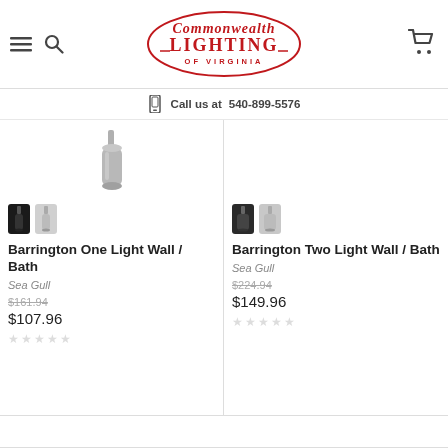Commonwealth Lighting of Virginia — Call us at 540-899-5576
[Figure (logo): Commonwealth Lighting of Virginia logo in red script/serif font with decorative border]
Call us at 540-899-5576
[Figure (photo): Barrington One Light Wall/Bath fixture product image with two color variant thumbnails]
Barrington One Light Wall / Bath
Sea Gull
$161.94
$107.96
[Figure (photo): Barrington Two Light Wall/Bath fixture product image with two color variant thumbnails]
Barrington Two Light Wall / Bath
Sea Gull
$224.94
$149.96